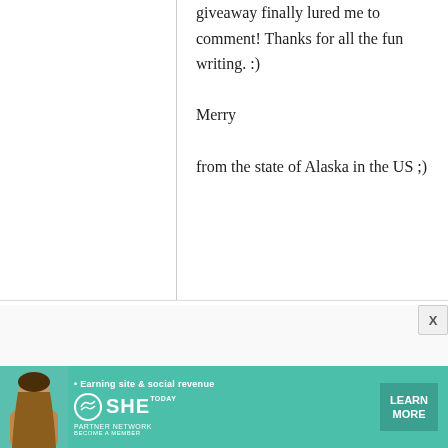giveaway finally lured me to comment! Thanks for all the fun writing. :)

Merry

from the state of Alaska in the US ;)
Harper
5 December, 2008 - 23:49
Japanese Cookbooks, please
[Figure (infographic): Advertisement banner with teal background, woman photo, SHE PARTNER NETWORK logo, bullet point 'Earning site & social revenue', and LEARN MORE button]